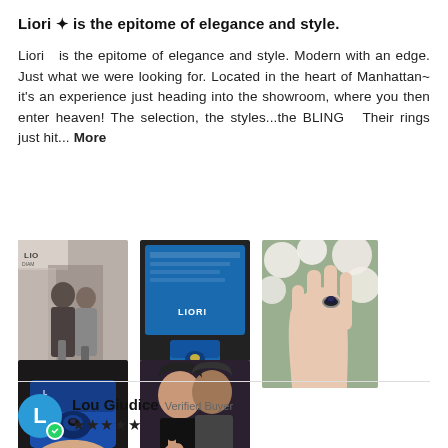Liori ✦ is the epitome of elegance and style.
Liori   is the epitome of elegance and style. Modern with an edge. Just what we were looking for. Located in the heart of Manhattan~ it's an experience just heading into the showroom, where you then enter heaven! The selection, the styles...the BLING   Their rings just hit... More
[Figure (photo): Couple hugging in Liori Diamonds showroom]
[Figure (photo): Liori Diamonds certificate/screen with ring box]
[Figure (photo): Hand wearing dark gemstone engagement ring with white flowers]
[Figure (photo): Diamond ring in blue Liori box held in hand]
[Figure (photo): Couple smiling showing engagement ring]
Lou Giudice  Verified Buyer